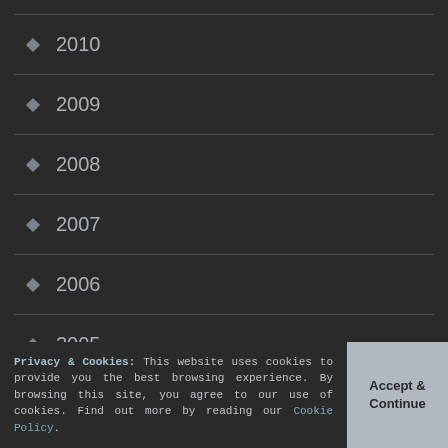2010
2009
2008
2007
2006
2005
Privacy & Cookies: This website uses cookies to provide you the best browsing experience. By browsing this site, you agree to our use of cookies. Find out more by reading our Cookie Policy.
Accept & Continue